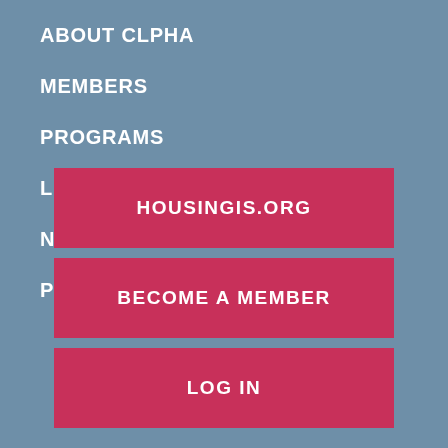ABOUT CLPHA
MEMBERS
PROGRAMS
LEGISLATIVE & POLICY
NEWS & EVENTS
PRESS
HOUSINGIS.ORG
BECOME A MEMBER
LOG IN